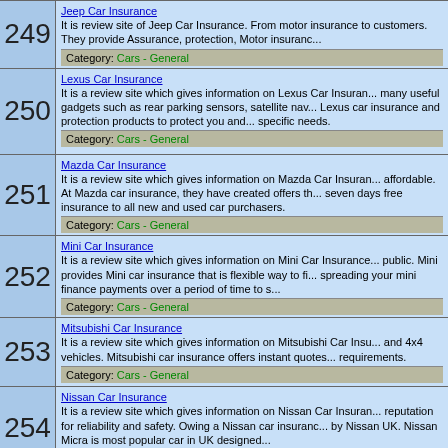| # | Site Info |
| --- | --- |
| 249 | Jeep Car Insurance
It is review site of Jeep Car Insurance. From motor insurance to customers. They provide Assurance, protection, Motor insuranc...
Category: Cars - General |
| 250 | Lexus Car Insurance
It is a review site which gives information on Lexus Car Insuran... many useful gadgets such as rear parking sensors, satellite nav... Lexus car insurance and protection products to protect you and... specific needs.
Category: Cars - General |
| 251 | Mazda Car Insurance
It is a review site which gives information on Mazda Car Insuran... affordable. At Mazda car insurance, they have created offers th... seven days free insurance to all new and used car purchasers.
Category: Cars - General |
| 252 | Mini Car Insurance
It is a review site which gives information on Mini Car Insurance... public. Mini provides Mini car insurance that is flexible way to fi... spreading your mini finance payments over a period of time to s...
Category: Cars - General |
| 253 | Mitsubishi Car Insurance
It is a review site which gives information on Mitsubishi Car Insu... and 4x4 vehicles. Mitsubishi car insurance offers instant quotes... requirements.
Category: Cars - General |
| 254 | Nissan Car Insurance
It is a review site which gives information on Nissan Car Insuran... reputation for reliability and safety. Owing a Nissan car insuranc... by Nissan UK. Nissan Micra is most popular car in UK designed...
Category: Cars - General |
| 255 | Peugeot Car Insurance
It is a review site which gives information on Peugeot Car Insur... provides wide range of insurance products for owing Peugeot c... Peugeot's customers and offers a high level of cover at very co...
Category: Cars - General |